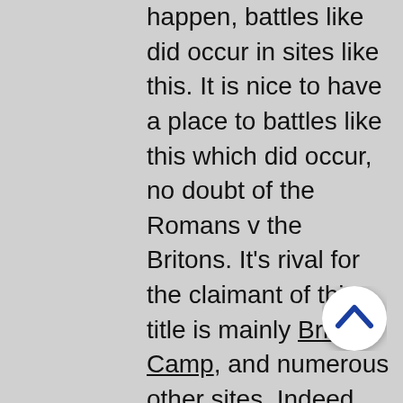happen, battles like did occur in sites like this. It is nice to have a place to battles like this which did occur, no doubt of the Romans v the Britons. It's rival for the claimant of this title is mainly British Camp, and numerous other sites. Indeed Mynydd Y Gaer in South Wales, at Bridgend area, has a tumulus that is marked Caer Caradoc, as of some idea that the story links to that hill, that would have been in Silures lands it seems.
So Caer Caradoc  is also famous as nearby is Caractacus' Cave. where in legend Caratacus / Caradog / Caradoc made a last stand. It must be said Caratacus was a king of the tribe the Catuvellauni, which led parts of South East England, north of where London is today. He in Roman histories took up rebellion, then went to help the South Wales Silures after much of what is today Southern England had been taken into Rome. Then he was defeated in battle in Ordovician territory, supposedly where Caer Caradoc
[Figure (other): A circular white scroll-to-top button with a dark blue upward chevron arrow icon, positioned over the text in the lower right area.]